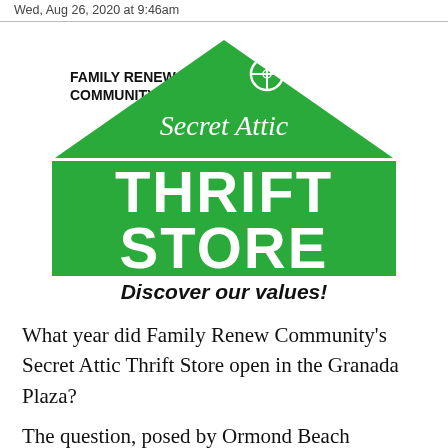Wed, Aug 26, 2020 at 9:46am
[Figure (logo): Family Renew Community's Secret Attic Thrift Store logo — a green house/triangle shape with 'Secret Attic' in white italic script and 'THRIFT STORE' in large white bold block letters. A circular crosshair/target icon at the top of the roof. The text 'FAMILY RENEW COMMUNITY'S' appears in black bold to the left of the triangle top.]
Discover our values!
What year did Family Renew Community's Secret Attic Thrift Store open in the Granada Plaza?
The question, posed by Ormond Beach